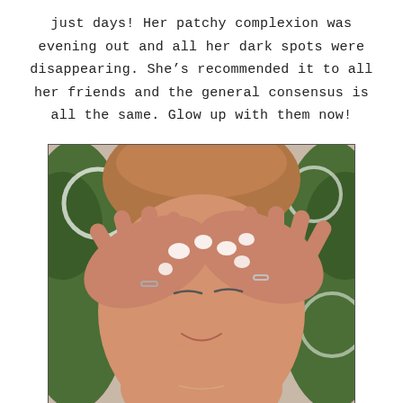just days! Her patchy complexion was evening out and all her dark spots were disappearing. She's recommended it to all her friends and the general consensus is all the same. Glow up with them now!
[Figure (photo): A woman applying skincare cream to her forehead with both hands, fingers spread, eyes closed, with a green leafy background and circular decorative elements visible.]